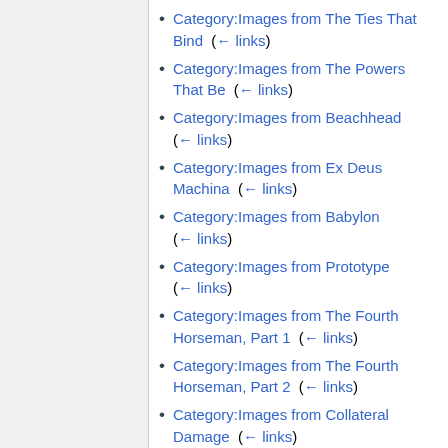Category:Images from The Ties That Bind  (← links)
Category:Images from The Powers That Be  (← links)
Category:Images from Beachhead  (← links)
Category:Images from Ex Deus Machina  (← links)
Category:Images from Babylon  (← links)
Category:Images from Prototype  (← links)
Category:Images from The Fourth Horseman, Part 1  (← links)
Category:Images from The Fourth Horseman, Part 2  (← links)
Category:Images from Collateral Damage  (← links)
Category:Images from Ripple Effect